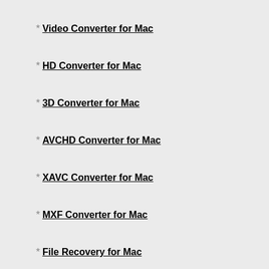* Video Converter for Mac
* HD Converter for Mac
* 3D Converter for Mac
* AVCHD Converter for Mac
* XAVC Converter for Mac
* MXF Converter for Mac
* File Recovery for Mac
* Photo Recovery for Mac
* Mac Blu-ray Player
* PDF Converter for Mac
Hot Tips